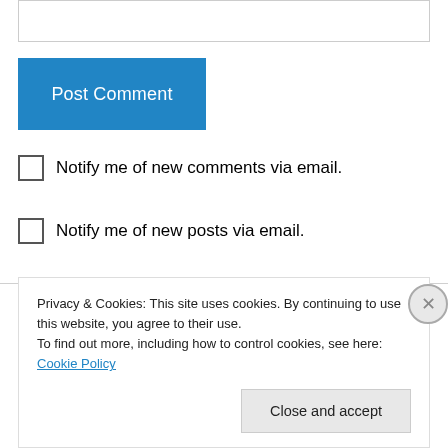[Figure (other): Empty text input box at top of page]
[Figure (other): Post Comment button, blue background, white text]
Notify me of new comments via email.
Notify me of new posts via email.
roodonfood on April 6, 2013 at 3:44 pm
Very cool. Thanks for the mini chemistry and
Privacy & Cookies: This site uses cookies. By continuing to use this website, you agree to their use.
To find out more, including how to control cookies, see here: Cookie Policy
Close and accept